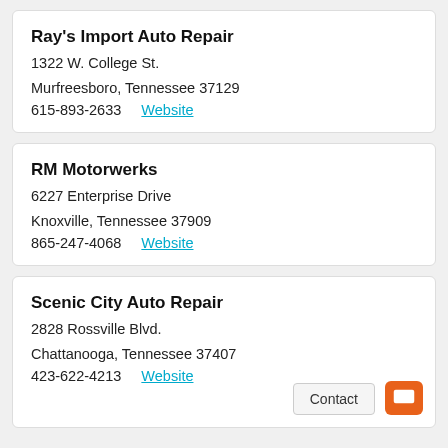Ray's Import Auto Repair
1322 W. College St.
Murfreesboro, Tennessee 37129
615-893-2633  Website
RM Motorwerks
6227 Enterprise Drive
Knoxville, Tennessee 37909
865-247-4068  Website
Scenic City Auto Repair
2828 Rossville Blvd.
Chattanooga, Tennessee 37407
423-622-4213  Website